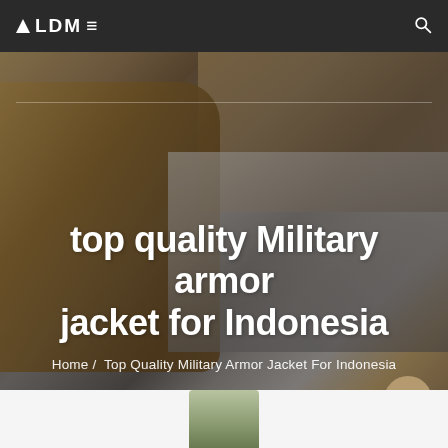ALDM≡
[Figure (photo): Person's hands typing on a laptop keyboard with a camera/lens in the foreground, warm-toned sweater visible on left side]
top quality Military armor jacket for Indonesia
Home / Top Quality Military Armor Jacket For Indonesia
[Figure (photo): Partial product image visible at bottom edge, appears to be green/camouflage colored item]